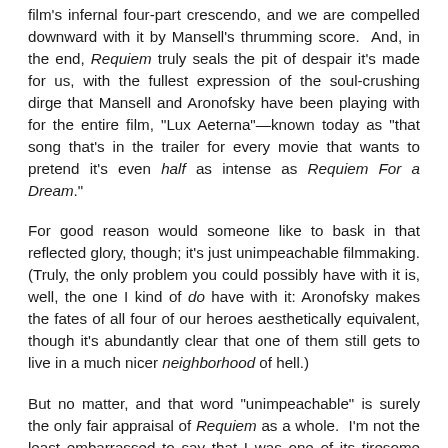film's infernal four-part crescendo, and we are compelled downward with it by Mansell's thrumming score. And, in the end, Requiem truly seals the pit of despair it's made for us, with the fullest expression of the soul-crushing dirge that Mansell and Aronofsky have been playing with for the entire film, "Lux Aeterna"—known today as "that song that's in the trailer for every movie that wants to pretend it's even half as intense as Requiem For a Dream."
For good reason would someone like to bask in that reflected glory, though; it's just unimpeachable filmmaking. (Truly, the only problem you could possibly have with it is, well, the one I kind of do have with it: Aronofsky makes the fates of all four of our heroes aesthetically equivalent, though it's abundantly clear that one of them still gets to live in a much nicer neighborhood of hell.)
But no matter, and that word "unimpeachable" is surely the only fair appraisal of Requiem as a whole. I'm not the least embarrassed to say that I was one of its tiresome fans back in 2000; and Requiem's impact can be quanitified in terms of the great mass of teenaged Millennials who saw it and loved